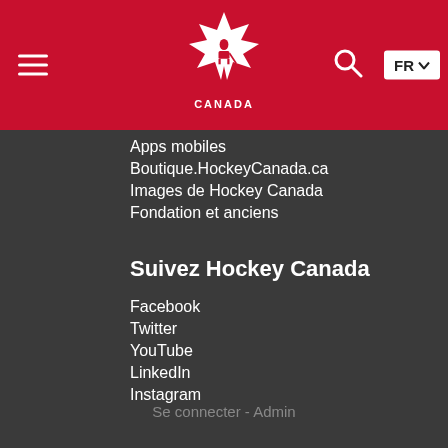[Figure (logo): Hockey Canada logo on red navigation bar with hamburger menu, search icon, and FR language button]
Apps mobiles
Boutique.HockeyCanada.ca
Images de Hockey Canada
Fondation et anciens
Suivez Hockey Canada
Facebook
Twitter
YouTube
LinkedIn
Instagram
Se connecter - Admin